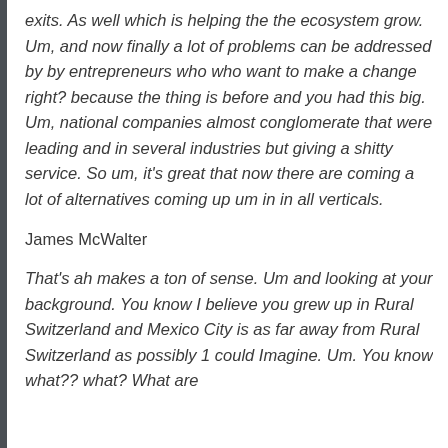exits. As well which is helping the the ecosystem grow. Um, and now finally a lot of problems can be addressed by by entrepreneurs who who want to make a change right? because the thing is before and you had this big. Um, national companies almost conglomerate that were leading and in several industries but giving a shitty service. So um, it's great that now there are coming a lot of alternatives coming up um in in all verticals.
James McWalter
That's ah makes a ton of sense. Um and looking at your background. You know I believe you grew up in Rural Switzerland and Mexico City is as far away from Rural Switzerland as possibly 1 could Imagine. Um. You know what?? what? What are